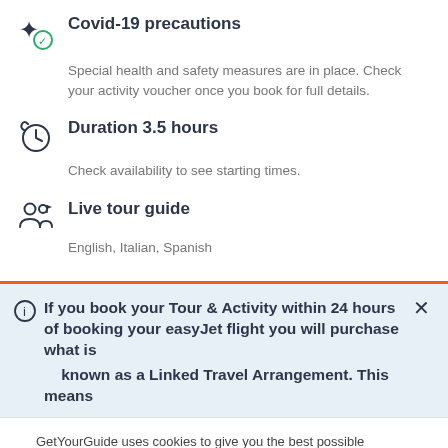Covid-19 precautions
Special health and safety measures are in place. Check your activity voucher once you book for full details.
Duration 3.5 hours
Check availability to see starting times.
Live tour guide
English, Italian, Spanish
If you book your Tour & Activity within 24 hours of booking your easyJet flight you will purchase what is known as a Linked Travel Arrangement. This means
GetYourGuide uses cookies to give you the best possible service. If you continue browsing, you agree to the use of cookies. More details can be found in our privacy policy.